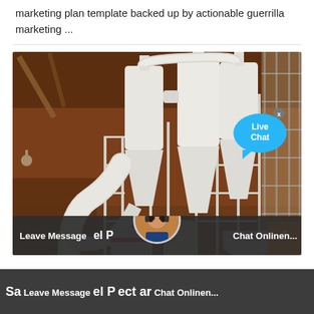marketing plan template backed up by actionable guerrilla marketing ...
[Figure (photo): Industrial milling/grinding equipment with large white cyclone separators, pipes, and metal frame structures inside a factory/warehouse building. A live chat bubble overlay appears in the top right.]
Sa Leave Message el P ect ar Chat Onlinen...